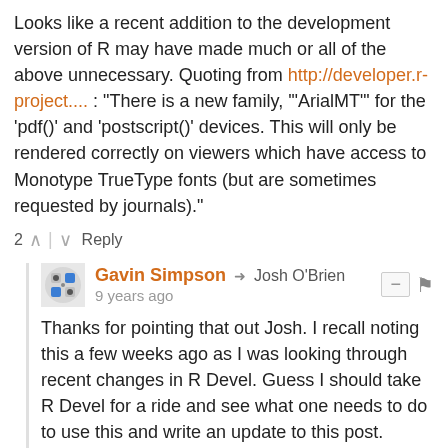Looks like a recent addition to the development version of R may have made much or all of the above unnecessary. Quoting from http://developer.r-project.... : "There is a new family, '"ArialMT"' for the 'pdf()' and 'postscript()' devices. This will only be rendered correctly on viewers which have access to Monotype TrueType fonts (but are sometimes requested by journals)."
2 ^ | v Reply
Gavin Simpson → Josh O'Brien
9 years ago
Thanks for pointing that out Josh. I recall noting this a few weeks ago as I was looking through recent changes in R Devel. Guess I should take R Devel for a ride and see what one needs to do to use this and write an update to this post. Sounds like something for the upcoming festive break from the office. Watch this space.
^ | v Reply
Josh O'Brien → Gavin Simpson